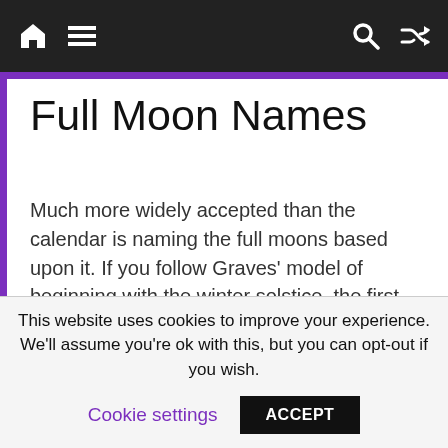Full Moon Names — navigation bar with home, menu, search, shuffle icons
Full Moon Names
Much more widely accepted than the calendar is naming the full moons based upon it. If you follow Graves' model of beginning with the winter solstice, the first full moon after the winter solstice would be the Birch moon, etc. More popular, however, is the Samhain as New Year model, in which case the first full moon after Samhain, November, is the Birch moon. The next in November/December is the
This website uses cookies to improve your experience. We'll assume you're ok with this, but you can opt-out if you wish. Cookie settings ACCEPT